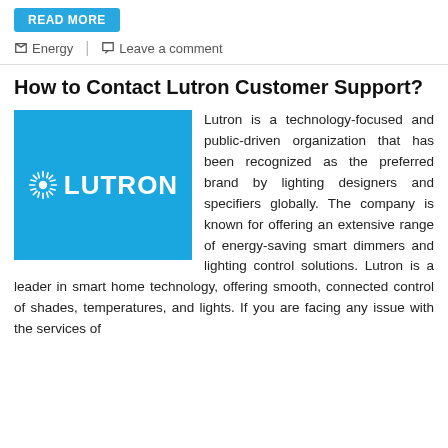READ MORE
Energy  |  Leave a comment
How to Contact Lutron Customer Support?
[Figure (logo): Lutron logo: white sun/radial burst icon and white LUTRON text on a bright blue background]
Lutron is a technology-focused and public-driven organization that has been recognized as the preferred brand by lighting designers and specifiers globally. The company is known for offering an extensive range of energy-saving smart dimmers and lighting control solutions. Lutron is a leader in smart home technology, offering smooth, connected control of shades, temperatures, and lights. If you are facing any issue with the services of